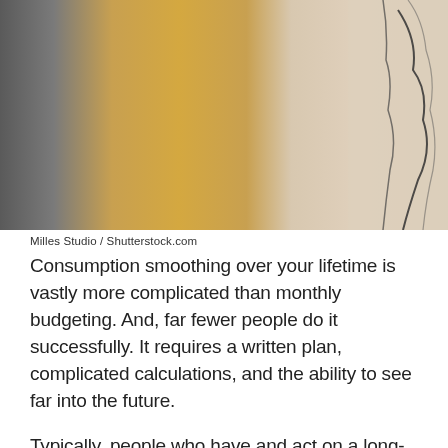[Figure (photo): Close-up of colorful fabric or material rolls hanging side by side — dark gray, golden/amber, and beige/taupe tones. A decorative line drawing is partially visible on the right side on a light background.]
Milles Studio / Shutterstock.com
Consumption smoothing over your lifetime is vastly more complicated than monthly budgeting. And, far fewer people do it successfully. It requires a written plan, complicated calculations, and the ability to see far into the future.
Typically, people who have and act on a long-term